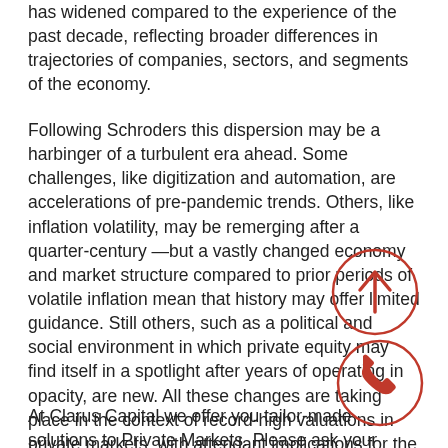has widened compared to the experience of the past decade, reflecting broader differences in trajectories of companies, sectors, and segments of the economy.
Following Schroders this dispersion may be a harbinger of a turbulent era ahead. Some challenges, like digitization and automation, are accelerations of pre-pandemic trends. Others, like inflation volatility, may be remerging after a quarter-century—but a vastly changed economy and market structure compared to prior periods of volatile inflation mean that history may offer limited guidance. Still others, such as a political and social environment in which private equity may find itself in a spotlight after years of operating in opacity, are new. All these changes are taking place in the context of record-high valuations in private markets, with attendant implications for the way managers must select and manage their investments.
At Clarus Capital we offer you tailor-made solutions to Private Markets. Please ask your Relationship Manager for any specific ideas.
[Figure (illustration): Two red circle annotations overlaid on the text: one circle around 'social environment' area with an upward arrow icon, and one circle around 'investments' area with a phone/call icon.]